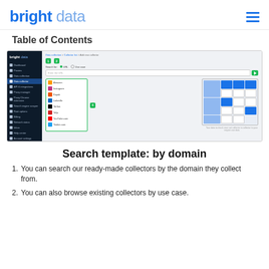bright data
Table of Contents
[Figure (screenshot): Bright Data platform UI screenshot showing the Data Collector interface with a sidebar navigation and a main panel for adding a new collector with domain search options (Amazon, Instagram, Kayak, LinkedIn, TikTok, Yelp, YouTube, Twitter) and a preview panel showing collected data cards.]
Search template: by domain
You can search our ready-made collectors by the domain they collect from.
You can also browse existing collectors by use case.